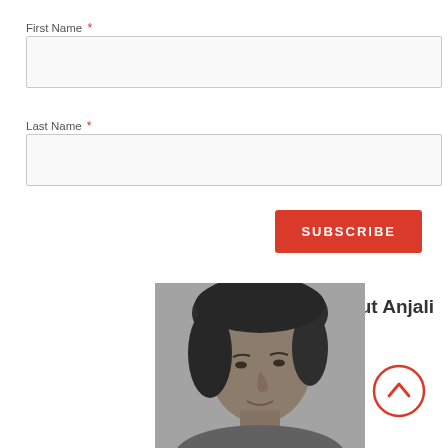First Name *
[Figure (other): Empty text input field for First Name]
Last Name *
[Figure (other): Empty text input field for Last Name]
[Figure (other): Red SUBSCRIBE button]
About Anjali
[Figure (photo): Black and white photo of a woman, partially visible from the bottom of the page]
[Figure (other): Circular scroll-to-top button with upward chevron arrow, red outline]